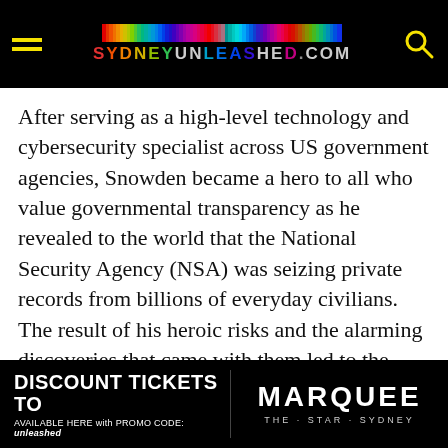SYDNEYUNLEASHED.COM
After serving as a high-level technology and cybersecurity specialist across US government agencies, Snowden became a hero to all who value governmental transparency as he revealed to the world that the National Security Agency (NSA) was seizing private records from billions of everyday civilians. The result of his heroic risks and the alarming discoveries that came with them led to the most significant US surveillance policy in almost three decades, making him a public enemy and forcing him to seek political asylum in Russia.
Appearing via video link, the controversial conqueror of social justice will enlighten audiences
DISCOUNT TICKETS TO MARQUEE THE·STAR·SYDNEY AVAILABLE HERE with PROMO CODE: unleashed